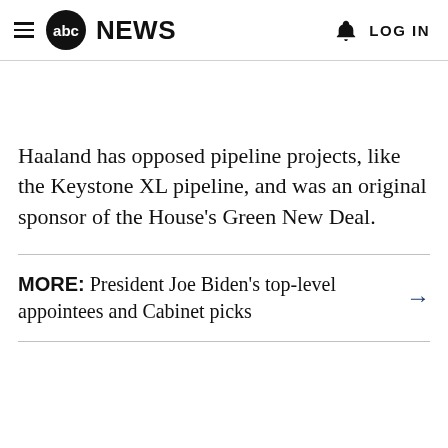abc NEWS  LOG IN
Haaland has opposed pipeline projects, like the Keystone XL pipeline, and was an original sponsor of the House's Green New Deal.
MORE: President Joe Biden's top-level appointees and Cabinet picks